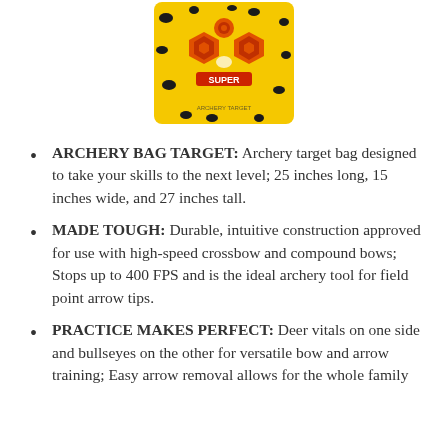[Figure (photo): Yellow archery bag target with red hexagon bullseye patterns and black spots, labeled 'SUPER' in center]
ARCHERY BAG TARGET: Archery target bag designed to take your skills to the next level; 25 inches long, 15 inches wide, and 27 inches tall.
MADE TOUGH: Durable, intuitive construction approved for use with high-speed crossbow and compound bows; Stops up to 400 FPS and is the ideal archery tool for field point arrow tips.
PRACTICE MAKES PERFECT: Deer vitals on one side and bullseyes on the other for versatile bow and arrow training; Easy arrow removal allows for the whole family